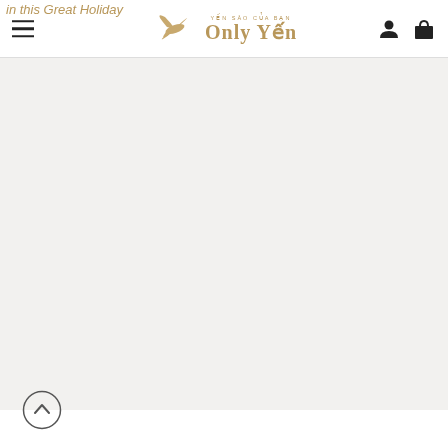in this Great Holiday
[Figure (logo): Only Yến brand logo with a flying bird and gold text reading 'Only Yến' with small Vietnamese text above]
[Figure (other): Navigation icons: hamburger menu on left, user account and shopping bag icons on right]
[Figure (other): Large light gray main content area, mostly empty product display region]
[Figure (other): Circular back-to-top button with upward chevron arrow at bottom left]